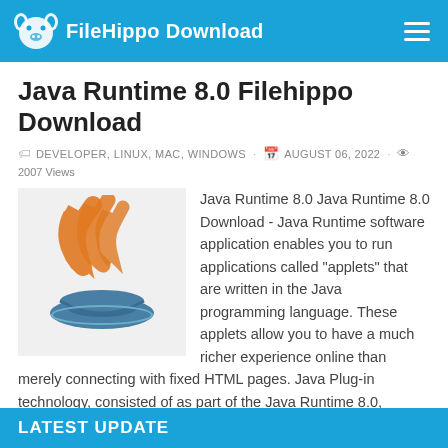FileHippo Download
Java Runtime 8.0 Filehippo Download
DEVELOPER, LINUX, MAC, WINDOWS · AUGUST 06, 2022 · 2007 Views
[Figure (logo): Java logo: orange flame-like swirls above a blue stylized coffee cup/saucer]
Java Runtime 8.0 Java Runtime 8.0 Download - Java Runtime software application enables you to run applications called "applets" that are written in the Java programming language. These applets allow you to have a much richer experience online than merely connecting with fixed HTML pages. Java Plug-in technology, consisted of as part of the Java Runtime 8.0, Criterion Edition (JRE), develops a ...
1 2 3 Next »
LATEST UPDATE